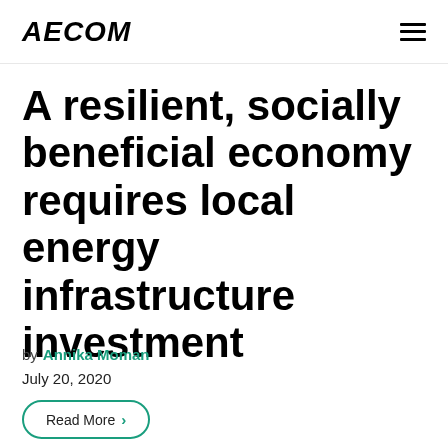AECOM
A resilient, socially beneficial economy requires local energy infrastructure investment
by Annika Moman
July 20, 2020
Read More >